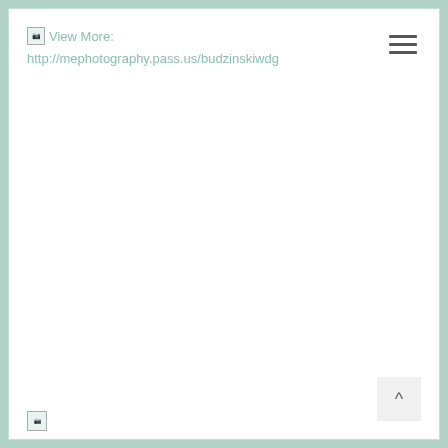View More: http://mephotography.pass.us/budzinskiwdg